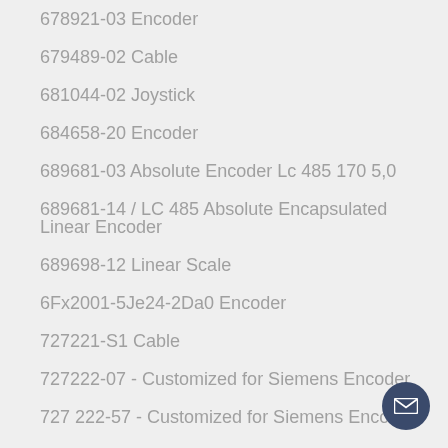678921-03 Encoder
679489-02 Cable
681044-02 Joystick
684658-20 Encoder
689681-03 Absolute Encoder Lc 485 170 5,0
689681-14 / LC 485 Absolute Encapsulated Linear Encoder
689698-12 Linear Scale
6Fx2001-5Je24-2Da0 Encoder
727221-S1 Cable
727222-07 - Customized for Siemens Encoder
727 222-57 - Customized for Siemens Encoder
733185-02 Sending / Receiving Unit
735117-52 Encoder
735117-52 Encoder
735117-56 Encoder